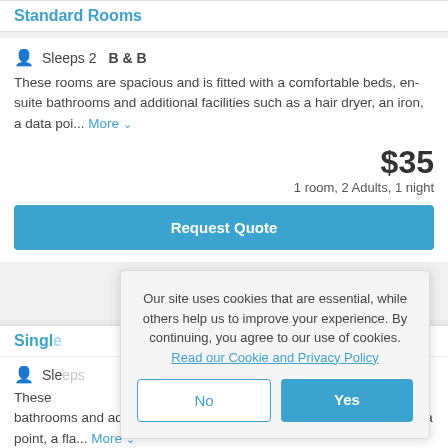Standard Rooms
Sleeps 2  B & B
These rooms are spacious and is fitted with a comfortable beds, en-suite bathrooms and additional facilities such as a hair dryer, an iron, a data poi... More
$35
1 room, 2 Adults, 1 night
Request Quote
Single
Sleeps
These bathrooms and additional facilities such as a hair dryer, ab iron, a data point, a fla... More
Our site uses cookies that are essential, while others help us to improve your experience. By continuing, you agree to our use of cookies.
Read our Cookie and Privacy Policy
No
Yes